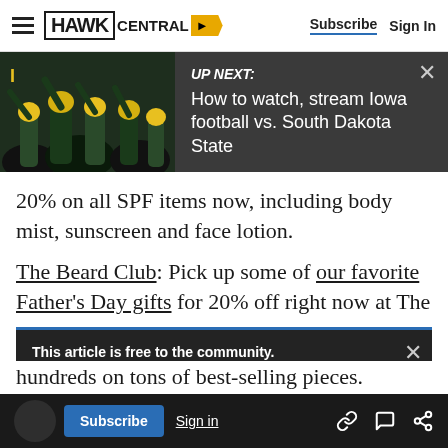HAWK CENTRAL — Subscribe | Sign In
[Figure (screenshot): UP NEXT banner showing Iowa football players with text: How to watch, stream Iowa football vs. South Dakota State]
20% on all SPF items now, including body mist, sunscreen and face lotion.
The Beard Club: Pick up some of our favorite Father's Day gifts for 20% off right now at The
This article is free to the community. Only 99¢ for the first month. Save 86%. Subscribe now
ith chic savings on handbags, shoes and
Subscribe | Sign in | hundreds on tons of best-selling pieces.